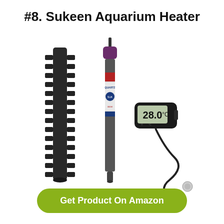#8. Sukeen Aquarium Heater
[Figure (photo): Product photo of Sukeen Aquarium Heater set including a black fin-style heater guard, a cylindrical quartz aquarium heater tube with red and blue label and purple cap, and a small digital thermometer displaying 28.0°C with suction cup and sensor probe on a cord.]
Get Product On Amazon